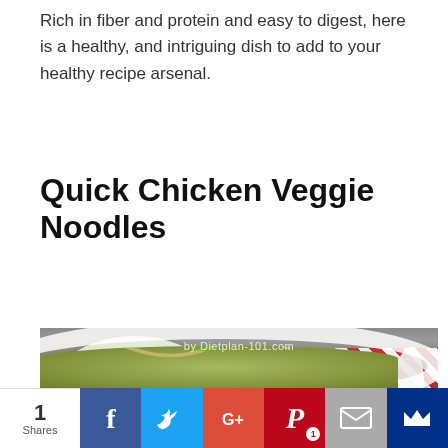Rich in fiber and protein and easy to digest, here is a healthy, and intriguing dish to add to your healthy recipe arsenal.
Quick Chicken Veggie Noodles
[Figure (photo): Bowl of Quick Chicken Veggie Noodles soup with vegetables, noodles, and shredded chicken, with a second bowl in background and a spoon on red cloth. Watermark: by Dietplan-101.com]
1 Shares | Facebook | Twitter | Google+ | Pinterest 1 | Email | Crown